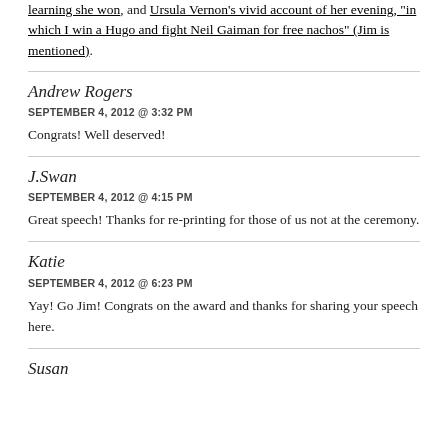learning she won, and Ursula Vernon's vivid account of her evening, "in which I win a Hugo and fight Neil Gaiman for free nachos" (Jim is mentioned).
Andrew Rogers
SEPTEMBER 4, 2012 @ 3:32 PM
Congrats! Well deserved!
J.Swan
SEPTEMBER 4, 2012 @ 4:15 PM
Great speech! Thanks for re-printing for those of us not at the ceremony.
Katie
SEPTEMBER 4, 2012 @ 6:23 PM
Yay! Go Jim! Congrats on the award and thanks for sharing your speech here.
Susan